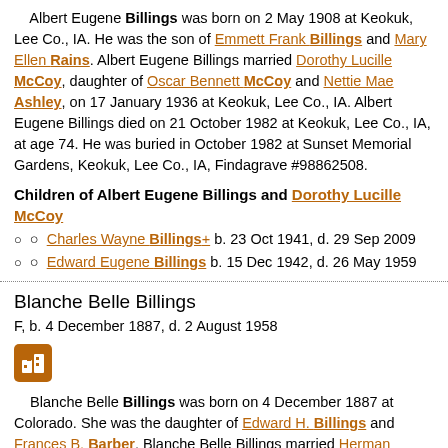Albert Eugene Billings was born on 2 May 1908 at Keokuk, Lee Co., IA. He was the son of Emmett Frank Billings and Mary Ellen Rains. Albert Eugene Billings married Dorothy Lucille McCoy, daughter of Oscar Bennett McCoy and Nettie Mae Ashley, on 17 January 1936 at Keokuk, Lee Co., IA. Albert Eugene Billings died on 21 October 1982 at Keokuk, Lee Co., IA, at age 74. He was buried in October 1982 at Sunset Memorial Gardens, Keokuk, Lee Co., IA, Findagrave #98862508.
Children of Albert Eugene Billings and Dorothy Lucille McCoy
Charles Wayne Billings+ b. 23 Oct 1941, d. 29 Sep 2009
Edward Eugene Billings b. 15 Dec 1942, d. 26 May 1959
Blanche Belle Billings
F, b. 4 December 1887, d. 2 August 1958
[Figure (other): Orange icon button with a small building/chart symbol]
Blanche Belle Billings was born on 4 December 1887 at Colorado. She was the daughter of Edward H. Billings and Frances B. Barber. Blanche Belle Billings married Herman Emmert Snonogle, son of Andrew J. Snonogle and Sarah